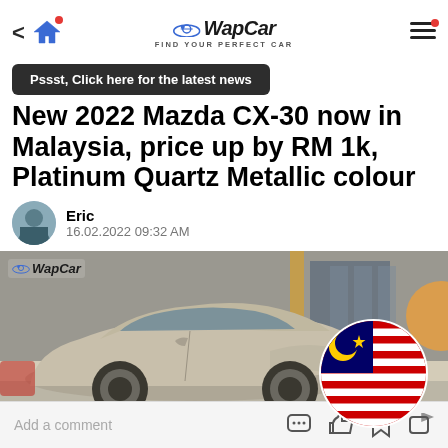WapCar – FIND YOUR PERFECT CAR
Pssst, Click here for the latest news
New 2022 Mazda CX-30 now in Malaysia, price up by RM 1k, Platinum Quartz Metallic colour
Eric
16.02.2022 09:32 AM
[Figure (photo): Photo of a 2022 Mazda CX-30 in Platinum Quartz Metallic colour parked in a showroom, with WapCar logo overlay and Malaysian flag circle badge]
Add a comment  [icons: chat, like 20, bookmark, share]